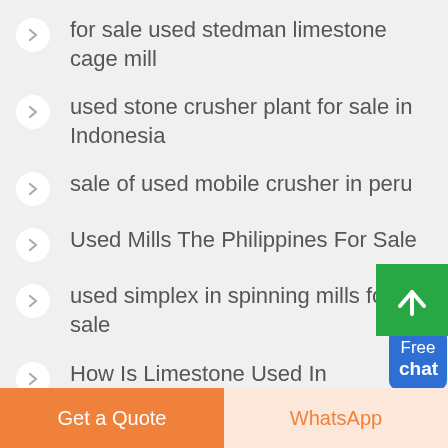for sale used stedman limestone cage mill
used stone crusher plant for sale in Indonesia
sale of used mobile crusher in peru
Used Mills The Philippines For Sale
used simplex in spinning mills for sale
How Is Limestone Used In Medicines And Cosmetics
[Figure (illustration): Free chat widget with person illustration and blue button]
[Figure (illustration): Green scroll-to-top button with upward arrow]
Get a Quote
WhatsApp